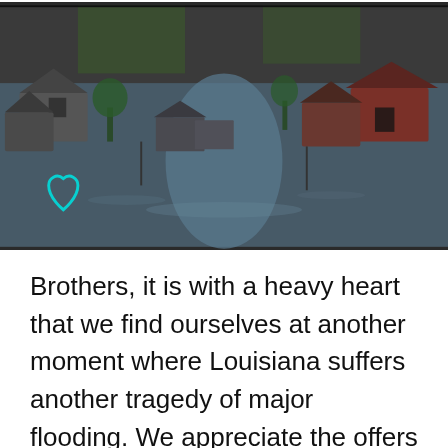[Figure (photo): Aerial view of flooded neighborhood with houses surrounded by water]
Brothers, it is with a heavy heart that we find ourselves at another moment where Louisiana suffers another tragedy of major flooding. We appreciate the offers of support and ongoing concern for the brothers of Louisiana.There have been many reports of displaced brothers made to the southwestern region vice president, but thankfully no deaths. However, we will continue to maintain